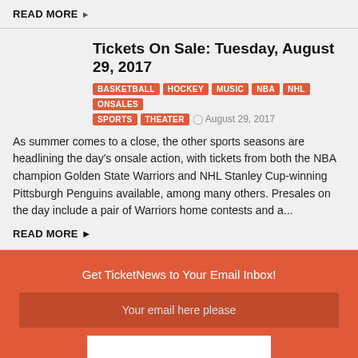READ MORE ▶
Tickets On Sale: Tuesday, August 29, 2017
BASKETBALL  HOCKEY  MUSIC  NBA  NHL  ONSALES  SPORTS  THEATER  ⊙ August 29, 2017
As summer comes to a close, the other sports seasons are headlining the day's onsale action, with tickets from both the NBA champion Golden State Warriors and NHL Stanley Cup-winning Pittsburgh Penguins available, among many others. Presales on the day include a pair of Warriors home contests and a...
READ MORE ▶
Get TicketNews to Your Email Inbox!
Your email here please